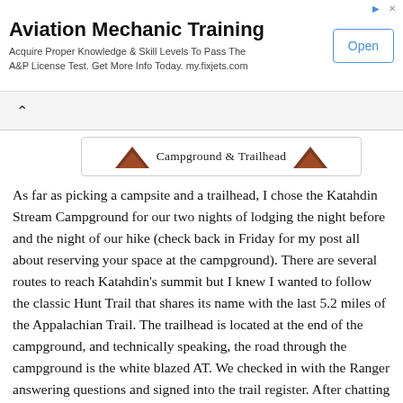[Figure (other): Advertisement banner for Aviation Mechanic Training. Title: 'Aviation Mechanic Training'. Body text: 'Acquire Proper Knowledge & Skill Levels To Pass The A&P License Test. Get More Info Today. my.fixjets.com'. Button: 'Open'.]
Campground & Trailhead
As far as picking a campsite and a trailhead, I chose the Katahdin Stream Campground for our two nights of lodging the night before and the night of our hike (check back in Friday for my post all about reserving your space at the campground). There are several routes to reach Katahdin's summit but I knew I wanted to follow the classic Hunt Trail that shares its name with the last 5.2 miles of the Appalachian Trail. The trailhead is located at the end of the campground, and technically speaking, the road through the campground is the white blazed AT. We checked in with the Ranger answering questions and signed into the trail register. After chatting with the ranger about the trail and the recent problems in the park (believe it or not, this was human feces on the trail.. yes…. people are choosing to poop virtually on the trail) and soon enough, we began our hike.